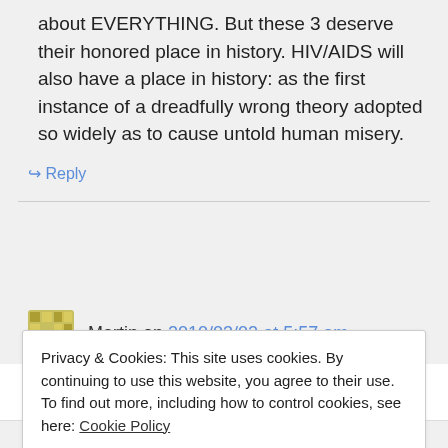about EVERYTHING. But these 3 deserve their honored place in history. HIV/AIDS will also have a place in history: as the first instance of a dreadfully wrong theory adopted so widely as to cause untold human misery.
↳ Reply
Martin on 2010/03/02 at 5:57 am
Privacy & Cookies: This site uses cookies. By continuing to use this website, you agree to their use.
To find out more, including how to control cookies, see here: Cookie Policy
Close and accept
the comment is that in misit...